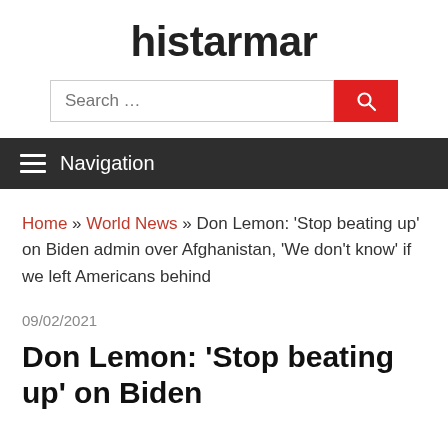histarmar
[Figure (other): Search bar with text input and red search button]
Navigation
Home » World News » Don Lemon: 'Stop beating up' on Biden admin over Afghanistan, 'We don't know' if we left Americans behind
09/02/2021
Don Lemon: 'Stop beating up' on Biden